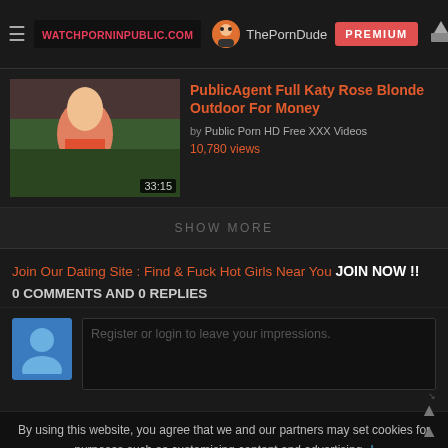WATCHPORNINPUBLIC.COM | ThePornDude | PREMIUM
PublicAgent Full Katy Rose Blonde Outdoor For Money
by Public Porn HD Free XXX Videos
10,780 views
SHOW MORE
Join Our Dating Site : Find & Fuck Hot Girls Near You JOIN NOW !!
0 COMMENTS AND 0 REPLIES
Register or login to leave your impressions.
By using this website, you agree that we and our partners may set cookies for purposes such as customising content and advertising.
Understand